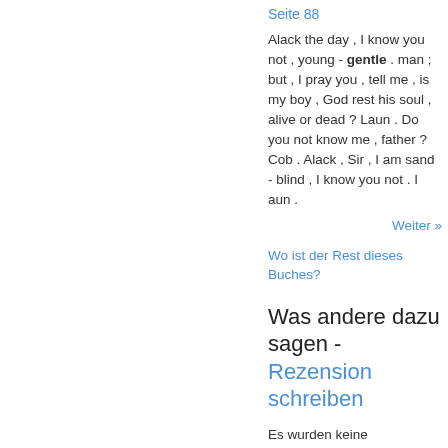Seite 88
Alack the day , I know you not , young - gentle . man ; but , I pray you , tell me , is my boy , God rest his soul , alive or dead ? Laun . Do you not know me , father ? Cob . Alack , Sir , I am sand - blind , I know you not . I aun .
Weiter »
Wo ist der Rest dieses Buches?
Was andere dazu sagen - Rezension schreiben
Es wurden keine Rezensionen gefunden.